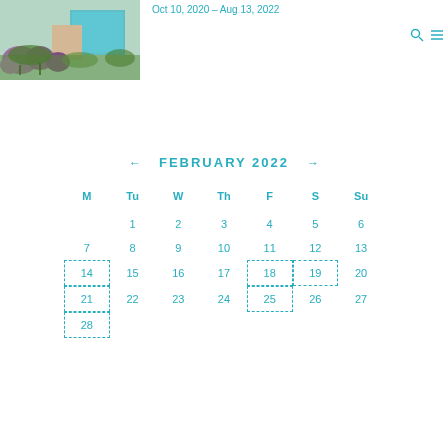[Figure (photo): Photograph of a garden with purple flowering plants and a greenhouse structure in the background]
Oct 10, 2020 – Aug 13, 2022
| M | Tu | W | Th | F | S | Su |
| --- | --- | --- | --- | --- | --- | --- |
|  | 1 | 2 | 3 | 4 | 5 | 6 |
| 7 | 8 | 9 | 10 | 11 | 12 | 13 |
| 14 | 15 | 16 | 17 | 18 | 19 | 20 |
| 21 | 22 | 23 | 24 | 25 | 26 | 27 |
| 28 |  |  |  |  |  |  |